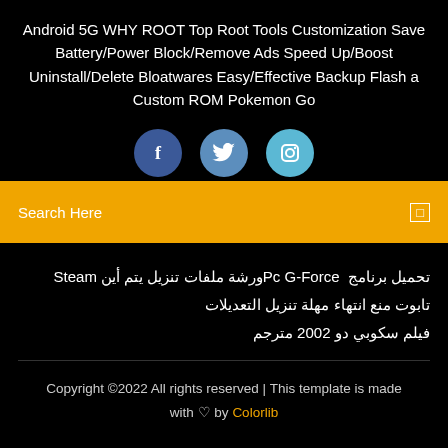Android 5G WHY ROOT Top Root Tools Customization Save Battery/Power Block/Remove Ads Speed Up/Boost Uninstall/Delete Bloatwares Easy/Effective Backup Flash a Custom ROM Pokemon Go
[Figure (illustration): Three social media icons: Facebook (blue circle with f), Twitter (blue circle with bird), Instagram (light blue circle with camera icon)]
Search Here
تحميل برنامج  Pc G-Force   ورشة ملفات تنزيل يتم أين Steam
تابوت منع انتهاء مهلة تنزيل التعديلات
فيلم سكوبي دو 2002 مترجم
Copyright ©2022 All rights reserved | This template is made with ♡ by Colorlib